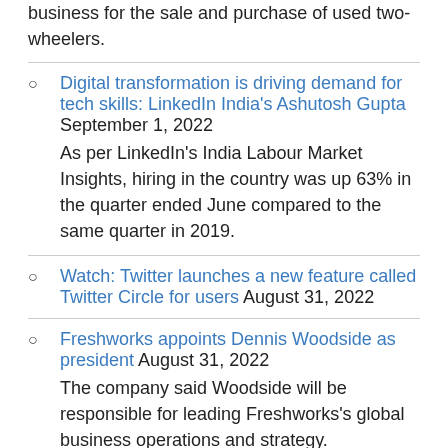business for the sale and purchase of used two-wheelers.
Digital transformation is driving demand for tech skills: LinkedIn India's Ashutosh Gupta September 1, 2022
As per LinkedIn's India Labour Market Insights, hiring in the country was up 63% in the quarter ended June compared to the same quarter in 2019.
Watch: Twitter launches a new feature called Twitter Circle for users August 31, 2022
Freshworks appoints Dennis Woodside as president August 31, 2022
The company said Woodside will be responsible for leading Freshworks's global business operations and strategy.
Sexual wellness startup MyMuse raises $1.2 million in funding led by Season Capital August 31,